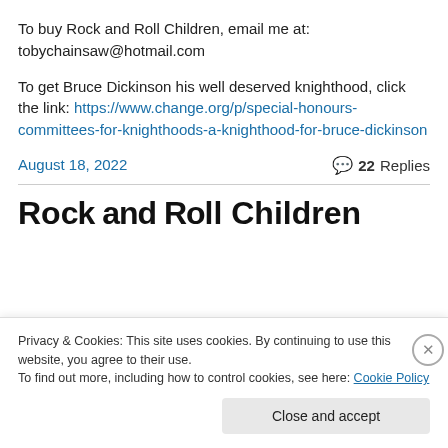To buy Rock and Roll Children, email me at: tobychainsaw@hotmail.com
To get Bruce Dickinson his well deserved knighthood, click the link: https://www.change.org/p/special-honours-committees-for-knighthoods-a-knighthood-for-bruce-dickinson
August 18, 2022   💬 22 Replies
Privacy & Cookies: This site uses cookies. By continuing to use this website, you agree to their use. To find out more, including how to control cookies, see here: Cookie Policy